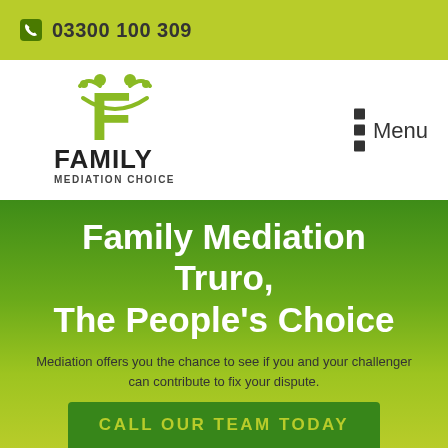03300 100 309
[Figure (logo): Family Mediation Choice logo: stylized green F with people figures above, FAMILY in black bold, MEDIATION CHOICE below]
Menu
Family Mediation Truro, The People's Choice
Mediation offers you the chance to see if you and your challenger can contribute to fix your dispute.
CALL OUR TEAM TODAY